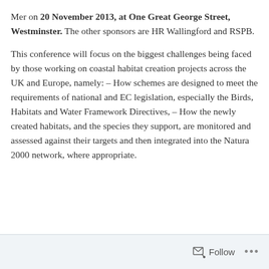Mer on 20 November 2013, at One Great George Street, Westminster. The other sponsors are HR Wallingford and RSPB.
This conference will focus on the biggest challenges being faced by those working on coastal habitat creation projects across the UK and Europe, namely: – How schemes are designed to meet the requirements of national and EC legislation, especially the Birds, Habitats and Water Framework Directives, – How the newly created habitats, and the species they support, are monitored and assessed against their targets and then integrated into the Natura 2000 network, where appropriate.
Follow ...